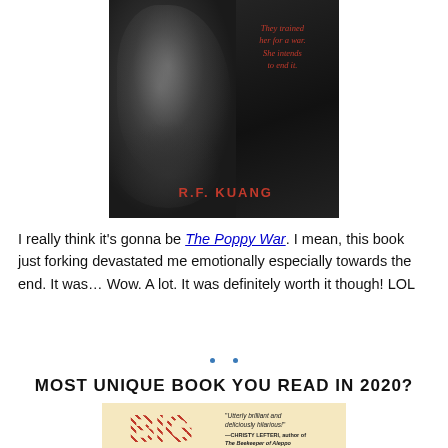[Figure (illustration): Book cover of The Poppy War by R.F. Kuang. Dark/black background with a warrior figure on the left side. Red italic tagline reads 'They trained her for a war. She intends to end it.' Red bold author name 'R.F. KUANG' at the bottom.]
I really think it's gonna be The Poppy War. I mean, this book just forking devastated me emotionally especially towards the end. It was… Wow. A lot. It was definitely worth it though! LOL
MOST UNIQUE BOOK YOU READ IN 2020?
[Figure (illustration): Bottom portion of a book cover with a tan/cream background. Large checkered red text 'BIG' on the left. On the right a blurb: 'Utterly brilliant and deliciously hilarious!' —CHRISTY LEFTERI, author of The Beekeeper of Aleppo]